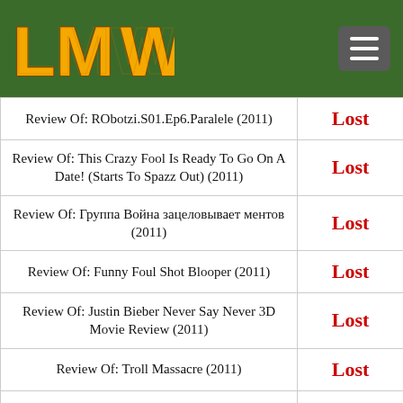LMW
| Title | Status |
| --- | --- |
| Review Of: RObotzi.S01.Ep6.Paralele (2011) | Lost |
| Review Of: This Crazy Fool Is Ready To Go On A Date! (Starts To Spazz Out) (2011) | Lost |
| Review Of: Группа Война зацеловывает ментов (2011) | Lost |
| Review Of: Funny Foul Shot Blooper (2011) | Lost |
| Review Of: Justin Bieber Never Say Never 3D Movie Review (2011) | Lost |
| Review Of: Troll Massacre (2011) | Lost |
| Review Of: Jim Jorgensen vs. Judd Blackwater (2011) | Lost |